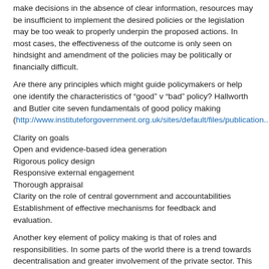make decisions in the absence of clear information, resources may be insufficient to implement the desired policies or the legislation may be too weak to properly underpin the proposed actions. In most cases, the effectiveness of the outcome is only seen on hindsight and amendment of the policies may be politically or financially difficult.
Are there any principles which might guide policymakers or help one identify the characteristics of “good” v “bad” policy? Hallworth and Butler cite seven fundamentals of good policy making (http://www.instituteforgovernment.org.uk/sites/default/files/publication...):
Clarity on goals
Open and evidence-based idea generation
Rigorous policy design
Responsive external engagement
Thorough appraisal
Clarity on the role of central government and accountabilities
Establishment of effective mechanisms for feedback and evaluation.
Another key element of policy making is that of roles and responsibilities. In some parts of the world there is a trend towards decentralisation and greater involvement of the private sector. This reduces the burden on government resources or the taxpayer and, in some cases, leads to greater efficiency. Consider the example of compensation for animals compulsorily slaughtered when disclosed with a controlled disease. At first this may seem a simple issue: farmers should be compensated for animals they are forced to slaughter. But on reflection, it is more complex. Firstly, one must ask if government should pay for diseased animals that, by law, cannot be marketed (because of movement controls). There are